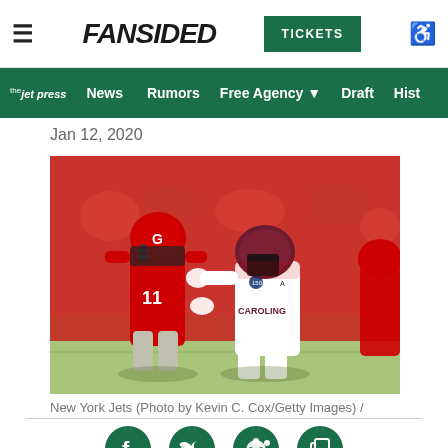FanSided | TICKETS | Navigation: the jet press, News, Rumors, Free Agency, Draft, Hist
Jan 12, 2020
[Figure (photo): Football players on field — Georgia Bulldogs player in red uniform #11 facing South Carolina Gamecocks player in white uniform (CAROLING visible), action scene during a college football game]
New York Jets (Photo by Kevin C. Cox/Getty Images) /
[Figure (infographic): Social media sharing icons: Facebook, Twitter, Reddit, and a copy/share icon, all in dark green circles]